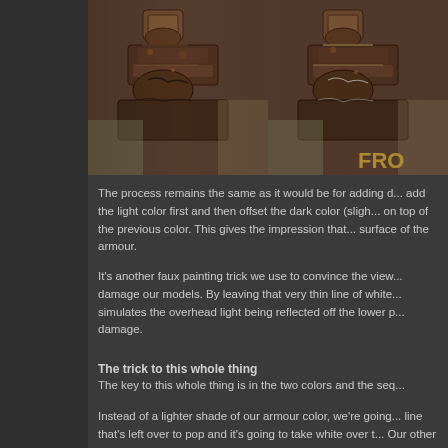[Figure (photo): Two side-by-side close-up photos of a fantasy armour miniature showing battle damage detail, brown metallic texture with rust and dents]
The process remains the same as it would be for adding d... add the light color first and then offset the dark color (sligh... on top of the previous color. This gives the impression that... surface of the armour.
It's another faux painting trick we use to convince the view... damage our models. By leaving that very thin line of white... simulates the overhead light being reflected off the lower p... damage.
The trick to this whole thing
The key to this whole thing is in the two colors and the seq...
Instead of a lighter shade of our armour color, we're going... line that's left over to pop and it's going to take white over t... Our other color is black. You could use a dark grey color if... almost black since you don't want it being confused fo...